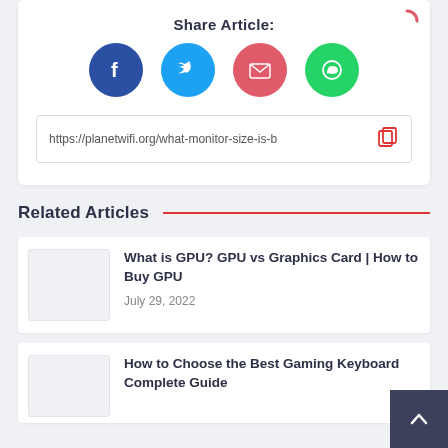Share Article:
[Figure (infographic): Four social share buttons: Facebook (dark blue circle with f), Twitter (light blue circle with bird), Email (red circle with envelope), WhatsApp (green circle with speech bubble)]
https://planetwifi.org/what-monitor-size-is-b
Related Articles
What is GPU? GPU vs Graphics Card | How to Buy GPU
July 29, 2022
How to Choose the Best Gaming Keyboard Complete Guide